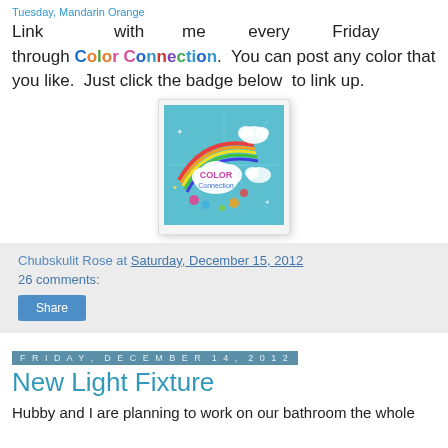Tuesday, Mandarin Orange
Link with me every Friday through Color Connection. You can post any color that you like. Just click the badge below to link up.
[Figure (illustration): Color Connection badge - colorful logo with clouds, rainbow and decorative elements on a teal background]
Chubskulit Rose at Saturday, December 15, 2012
26 comments:
Share
Friday, December 14, 2012
New Light Fixture
Hubby and I are planning to work on our bathroom the whole